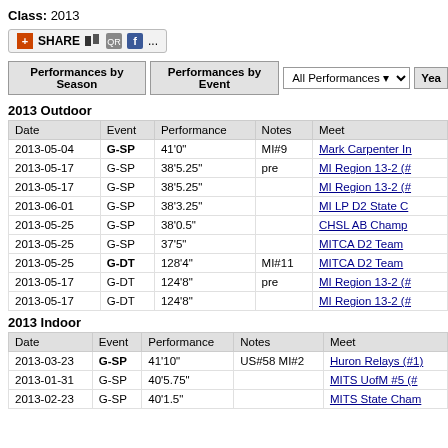Class: 2013
[Figure (other): Share button bar with social media icons]
Performances by Season | Performances by Event | All Performances ▾ | Year
2013 Outdoor
| Date | Event | Performance | Notes | Meet |
| --- | --- | --- | --- | --- |
| 2013-05-04 | G-SP | 41'0" | MI#9 | Mark Carpenter In |
| 2013-05-17 | G-SP | 38'5.25" | pre | MI Region 13-2 (# |
| 2013-05-17 | G-SP | 38'5.25" |  | MI Region 13-2 (# |
| 2013-06-01 | G-SP | 38'3.25" |  | MI LP D2 State C |
| 2013-05-25 | G-SP | 38'0.5" |  | CHSL AB Champ |
| 2013-05-25 | G-SP | 37'5" |  | MITCA D2 Team |
| 2013-05-25 | G-DT | 128'4" | MI#11 | MITCA D2 Team |
| 2013-05-17 | G-DT | 124'8" | pre | MI Region 13-2 (# |
| 2013-05-17 | G-DT | 124'8" |  | MI Region 13-2 (# |
2013 Indoor
| Date | Event | Performance | Notes | Meet |
| --- | --- | --- | --- | --- |
| 2013-03-23 | G-SP | 41'10" | US#58 MI#2 | Huron Relays (#1) |
| 2013-01-31 | G-SP | 40'5.75" |  | MITS UofM #5 (# |
| 2013-02-23 | G-SP | 40'1.5" |  | MITS State Cham |